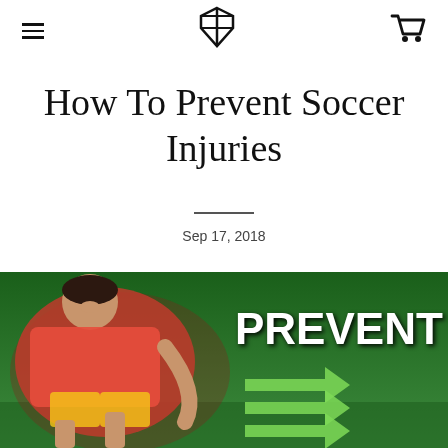≡  [logo]  🛒
How To Prevent Soccer Injuries
Sep 17, 2018
[Figure (photo): A soccer player in a red Liverpool jersey grimacing in pain on the ground, with text overlay reading PREVENT THIS and green arrows pointing at the injury area, against a green pitch background.]